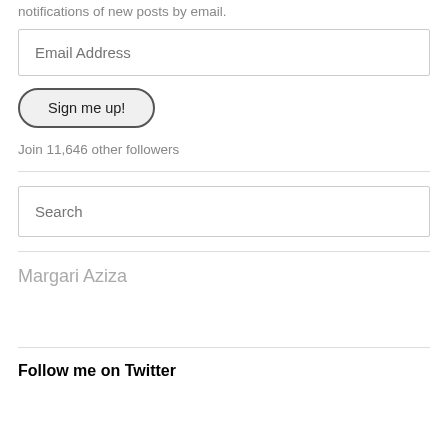notifications of new posts by email.
Email Address
Sign me up!
Join 11,646 other followers
Search
Margari Aziza
Follow me on Twitter